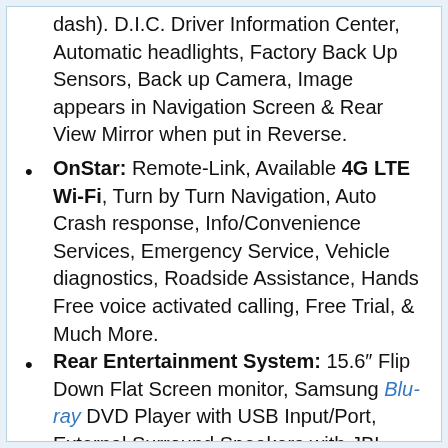(continuation) dash). D.I.C. Driver Information Center, Automatic headlights, Factory Back Up Sensors, Back up Camera, Image appears in Navigation Screen & Rear View Mirror when put in Reverse.
OnStar: Remote-Link, Available 4G LTE Wi-Fi, Turn by Turn Navigation, Auto Crash response, Info/Convenience Services, Emergency Service, Vehicle diagnostics, Roadside Assistance, Hands Free voice activated calling, Free Trial, & Much More.
Rear Entertainment System: 15.6" Flip Down Flat Screen monitor, Samsung Blu-ray DVD Player with USB Input/Port, External Surround Speakers with JBL Powered Subwoofer Enclosure, Speaker On/Off Switch, Wireless Headphones, 120V